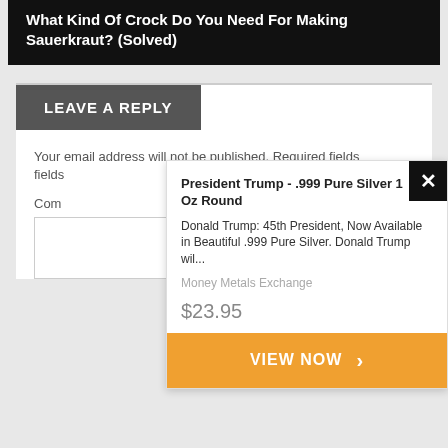What Kind Of Crock Do You Need For Making Sauerkraut? (Solved)
LEAVE A REPLY
Your email address will not be published. Required fields
Comment
[Figure (screenshot): Advertisement overlay showing President Trump .999 Pure Silver 1 Oz Round product from Money Metals Exchange priced at $23.95 with a VIEW NOW call-to-action button in orange, and a close (X) button in black at top right.]